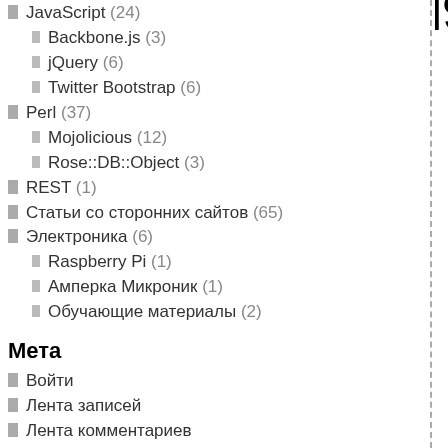JavaScript (24)
Backbone.js (3)
jQuery (6)
Twitter Bootstrap (6)
Perl (37)
Mojolicious (12)
Rose::DB::Object (3)
REST (1)
Статьи со сторонних сайтов (65)
Электроника (6)
Raspberry Pi (1)
Амперка Микроник (1)
Обучающие материалы (2)
Мета
Войти
Лента записей
Лента комментариев
WordPress.org
[Figure (other): Vertical text reading 'SELECTcount(' rotated 90 degrees along right side of page]